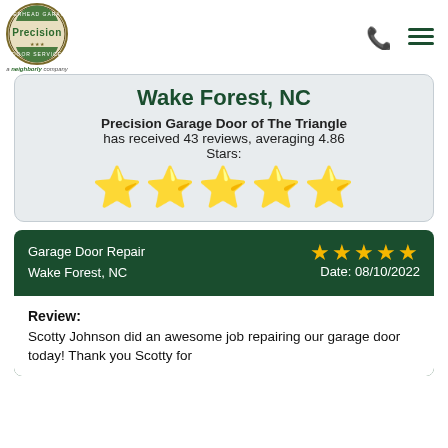[Figure (logo): Precision Door Service overhead garage logo - circular emblem with 'Precision' text and 'a neighborly company' tagline below]
Wake Forest, NC
Precision Garage Door of The Triangle has received 43 reviews, averaging 4.86 Stars:
[Figure (infographic): Five gold star rating icons]
Garage Door Repair
Wake Forest, NC
★★★★★
Date: 08/10/2022
Review:
Scotty Johnson did an awesome job repairing our garage door today! Thank you Scotty for